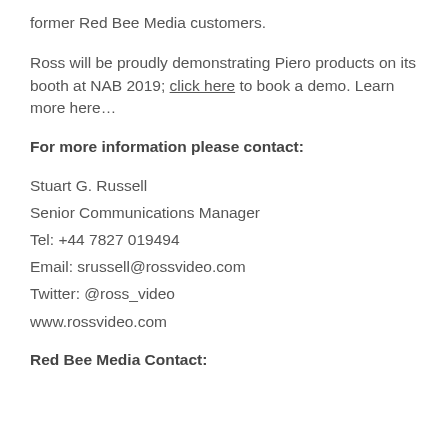former Red Bee Media customers.
Ross will be proudly demonstrating Piero products on its booth at NAB 2019; click here to book a demo. Learn more here…
For more information please contact:
Stuart G. Russell
Senior Communications Manager
Tel: +44 7827 019494
Email: srussell@rossvideo.com
Twitter: @ross_video
www.rossvideo.com
Red Bee Media Contact: